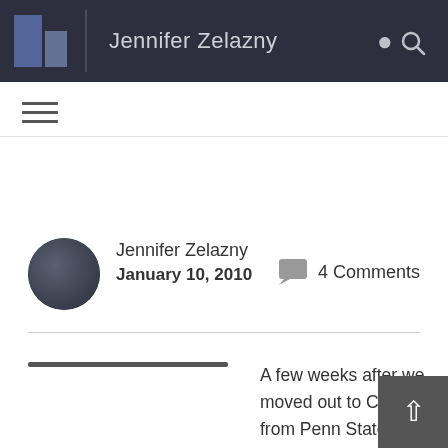Jennifer Zelazny
Jennifer Zelazny
January 10, 2010
4 Comments
[Figure (photo): Rectangular image placeholder showing top and bottom dark bars with caption 'Pita on the lookout']
Pita on the lookout
A few weeks after we moved out to Chicago from Penn State, I decided I wanted to get a kitten because my childhood kitten, no matter how many treats I gave him or how many hours I